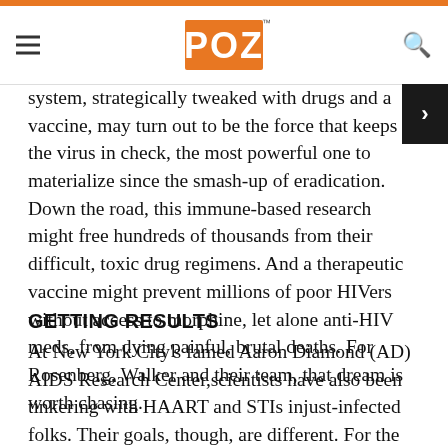POZ
system, strategically tweaked with drugs and a vaccine, may turn out to be the force that keeps the virus in check, the most powerful one to materialize since the smash-up of eradication. Down the road, this immune-based research might free hundreds of thousands from their difficult, toxic drug regimens. And a therapeutic vaccine might prevent millions of poor HIVers without access to morphine, let alone anti-HIV meds, from dying painful, brutal deaths. For Rosenberg, Walker and their team, that dream is worth chasing.
GETTING RESULTS
At New York City's famed Aaron Diamond (AD) AIDS Research Center,scientists have also been tinkering with HAART and STIs injust-infected folks. Their goals, though, are different. For the Mass General team, the drugs play second fiddle, a means to an end; at AD,it's the opposite.